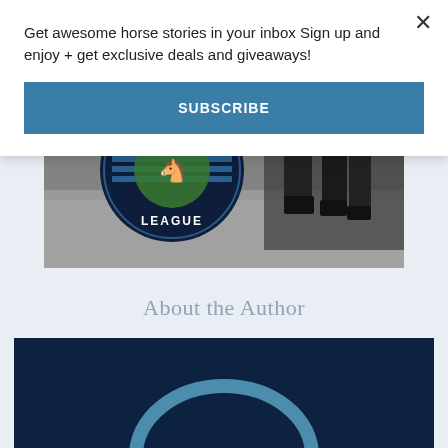Get awesome horse stories in your inbox Sign up and enjoy + get exclusive deals and giveaways!
SUBSCRIBE
[Figure (photo): ON MLSJ TV banner with Major League equestrian logo and horse jumping legs in black and white photo]
About the Author
[Figure (illustration): Dark navy blue author card with light blue arc/circle shape at bottom, partially visible]